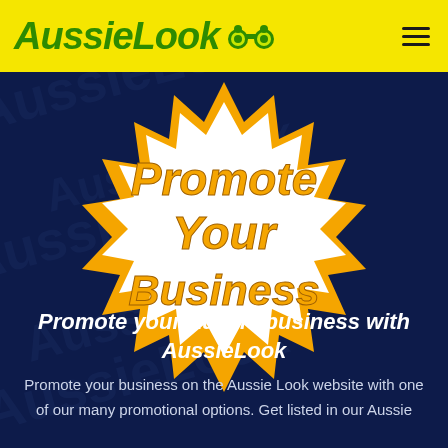AussieLook
[Figure (illustration): Starburst/badge graphic with orange jagged border and white interior containing the text 'Promote Your Business' in large italic orange bold font, on a dark navy blue background with faint watermark patterns]
Promote your Aussie business with AussieLook
Promote your business on the Aussie Look website with one of our many promotional options. Get listed in our Aussie